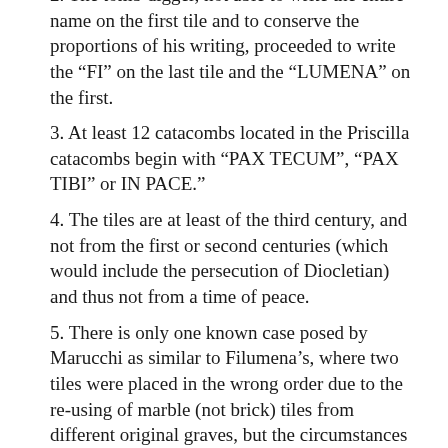2. The tomb digger, not able to write the entire name on the first tile and to conserve the proportions of his writing, proceeded to write the “FI” on the last tile and the “LUMENA” on the first.
3. At least 12 catacombs located in the Priscilla catacombs begin with “PAX TECUM”, “PAX TIBI” or IN PACE.”
4. The tiles are at least of the third century, and not from the first or second centuries (which would include the persecution of Diocletian) and thus not from a time of peace.
5. There is only one known case posed by Marucchi as similar to Filumena’s, where two tiles were placed in the wrong order due to the re-using of marble (not brick) tiles from different original graves, but the circumstances were